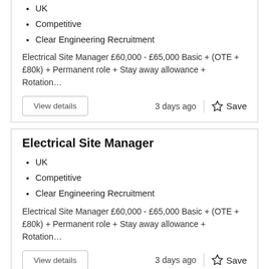UK
Competitive
Clear Engineering Recruitment
Electrical Site Manager £60,000 - £65,000 Basic + (OTE + £80k) + Permanent role + Stay away allowance + Rotation…
3 days ago
Electrical Site Manager
UK
Competitive
Clear Engineering Recruitment
Electrical Site Manager £60,000 - £65,000 Basic + (OTE + £80k) + Permanent role + Stay away allowance + Rotation…
3 days ago